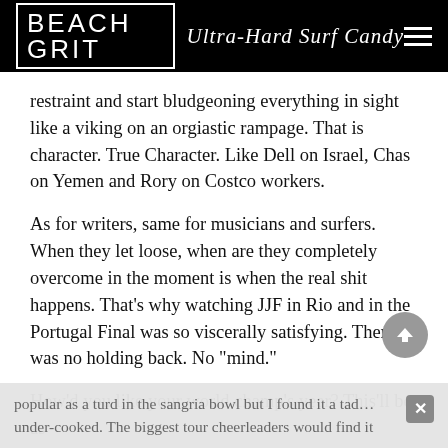BEACH GRIT Ultra-Hard Surf Candy
restraint and start bludgeoning everything in sight like a viking on an orgiastic rampage. That is character. True Character. Like Dell on Israel, Chas on Yemen and Rory on Costco workers.
As for writers, same for musicians and surfers. When they let loose, when are they completely overcome in the moment is when the real shit happens. That’s why watching JJF in Rio and in the Portugal Final was so viscerally satisfying. There was no holding back. No “mind.”
How’d you like your world champ’s year? This’ll be as
popular as a turd in the sangria bowl but I found it a tad… under-cooked. The biggest tour cheerleaders would find it